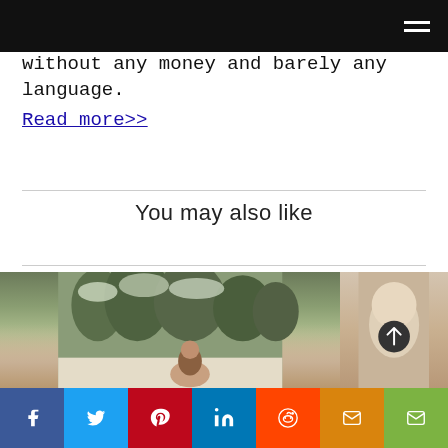Navigation bar with hamburger menu
without any money and barely any language.
Read more>>
You may also like
[Figure (photo): Woman laughing outdoors in snowy setting with trees in background]
[Figure (photo): Close-up of a person, partially visible, with dark circular back-to-top button overlay]